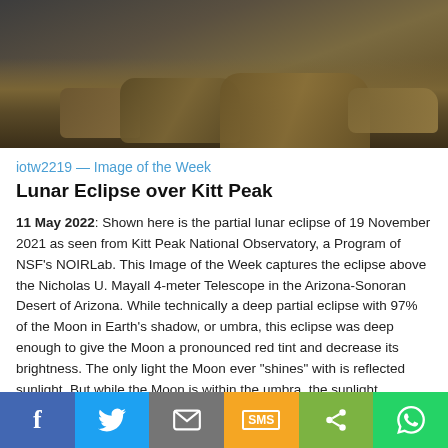[Figure (photo): Partial lunar eclipse of 19 November 2021 photographed over Kitt Peak National Observatory, showing rocky terrain in the foreground against a dark sky]
iotw2219 — Image of the Week
Lunar Eclipse over Kitt Peak
11 May 2022: Shown here is the partial lunar eclipse of 19 November 2021 as seen from Kitt Peak National Observatory, a Program of NSF's NOIRLab. This Image of the Week captures the eclipse above the Nicholas U. Mayall 4-meter Telescope in the Arizona-Sonoran Desert of Arizona. While technically a deep partial eclipse with 97% of the Moon in Earth's shadow, or umbra, this eclipse was deep enough to give the Moon a pronounced red tint and decrease its brightness. The only light the Moon ever “shines” with is reflected sunlight. But while the Moon is within the umbra, the sunlight illuminating the Moon is scattered by Earth's atmosphere. Essentially passing through a prism, the sunlight refracts in Earth's atmosphere and takes on a crimson hue, which then illuminates the Moon. This hue can be seen in this image, taken on the same night through a 600-mm focal length camera lens (equivalent to ...